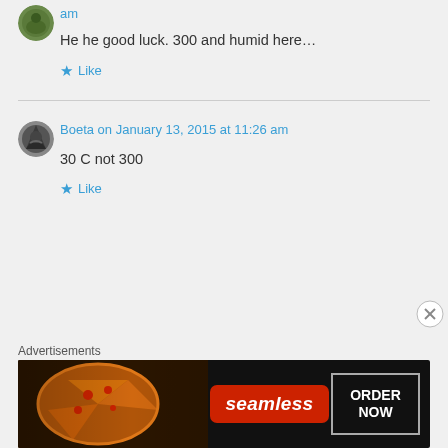am
He he good luck. 300 and humid here…
Like
Boeta on January 13, 2015 at 11:26 am
30 C not 300
Like
Advertisements
[Figure (photo): Seamless food delivery advertisement banner with pizza image on dark background, 'seamless' red badge, and 'ORDER NOW' button]